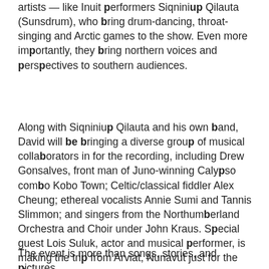artists — like Inuit performers Siqniniup Qilauta (Sunsdrum), who bring drum-dancing, throat-singing and Arctic games to the show. Even more importantly, they bring northern voices and perspectives to southern audiences.
Along with Siqniniup Qilauta and his own band, David will be bringing a diverse group of musical collaborators in for the recording, including Drew Gonsalves, front man of Juno-winning Calypso combo Kobo Town; Celtic/classical fiddler Alex Cheung; ethereal vocalists Annie Sumi and Tannis Slimmon; and singers from the Northumberland Orchestra and Choir under John Kraus. Special guest Lois Suluk, actor and musical performer, is making the trip from Arviat, Nunavut just for the show.
The event is more than songs, stories, and pictures, according to David. He believes Canada needs a